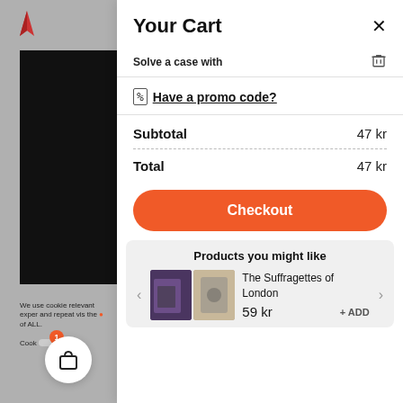Your Cart
Solve a case with
Have a promo code?
Subtotal   47 kr
Total   47 kr
Checkout
Products you might like
The Suffragettes of London
59 kr   + ADD
We use cookies relevant experience and repeat visits the use of ALL. Cookie settings